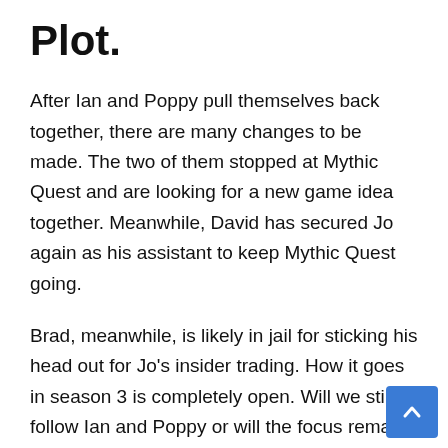Plot.
After Ian and Poppy pull themselves back together, there are many changes to be made. The two of them stopped at Mythic Quest and are looking for a new game idea together. Meanwhile, David has secured Jo again as his assistant to keep Mythic Quest going.
Brad, meanwhile, is likely in jail for sticking his head out for Jo's insider trading. How it goes in season 3 is completely open. Will we still follow Ian and Poppy or will the focus remain on the Mythic Quest staff?
“Mythic Quest: Raven’s Banquet” Season 3: